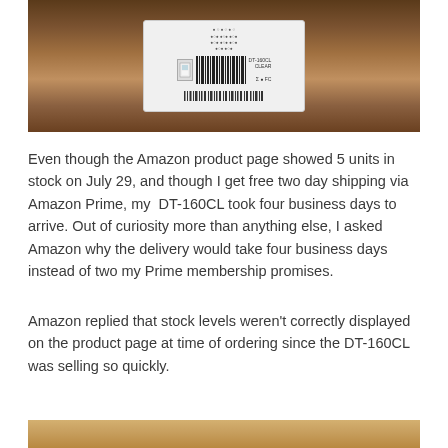[Figure (photo): Photo of a product box (appears to be a Canon or similar device) showing the back label with barcode and certification marks, placed on a wooden surface (slatted bench or table).]
Even though the Amazon product page showed 5 units in stock on July 29, and though I get free two day shipping via Amazon Prime, my DT-160CL took four business days to arrive. Out of curiosity more than anything else, I asked Amazon why the delivery would take four business days instead of two my Prime membership promises.
Amazon replied that stock levels weren't correctly displayed on the product page at time of ordering since the DT-160CL was selling so quickly.
[Figure (photo): Photo of the bottom portion of a cardboard shipping box, open, showing the interior kraft paper/cardboard.]